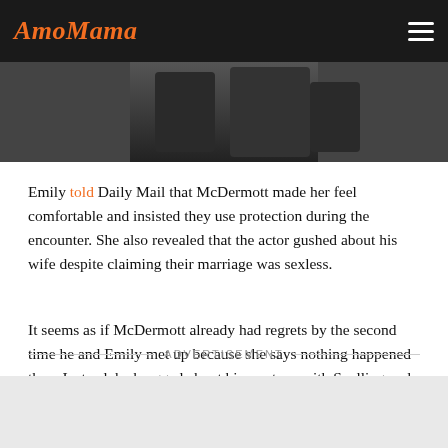AmoMama
[Figure (photo): Cropped photo showing people in dark clothing, partial view of the lower portion of the image]
Emily told Daily Mail that McDermott made her feel comfortable and insisted they use protection during the encounter. She also revealed that the actor gushed about his wife despite claiming their marriage was sexless.
It seems as if McDermott already had regrets by the second time he and Emily met up because she says nothing happened then. Instead, he bragged about his sex tape with Spelling and presented images of his kids.
ADVERTISEMENT